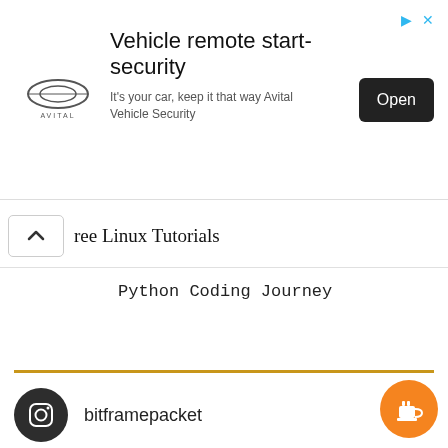[Figure (screenshot): Advertisement banner for Avital Vehicle Security — 'Vehicle remote start-security', 'It's your car, keep it that way Avital Vehicle Security', with Avital logo and Open button]
ree Linux Tutorials
Python Coding Journey
[Figure (logo): Instagram icon circle (dark background) with camera icon]
bitframepacket
[Figure (photo): Photo of three networking books on a wooden table: Cisco WAN Quick Start, Managing IP Networks, CCIE Professional Development: Routing TCP/IP]